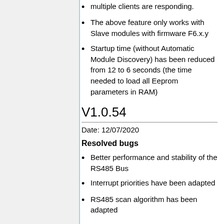multiple clients are responding.
The above feature only works with Slave modules with firmware F6.x.y
Startup time (without Automatic Module Discovery) has been reduced from 12 to 6 seconds (the time needed to load all Eeprom parameters in RAM)
V1.0.54
Date: 12/07/2020
Resolved bugs
Better performance and stability of the RS485 Bus
Interrupt priorities have been adapted
RS485 scan algorithm has been adapted